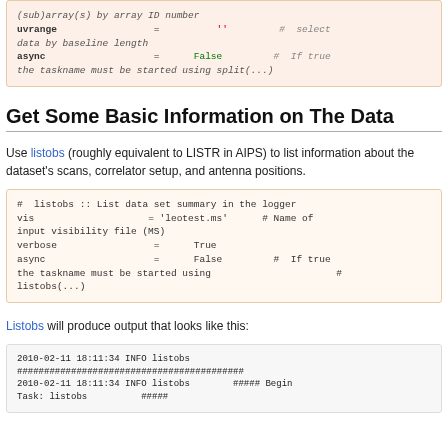[Figure (screenshot): Code block showing uvrange and async parameters with comments about selecting data by baseline length and split(...)]
Get Some Basic Information on The Data
Use listobs (roughly equivalent to LISTR in AIPS) to list information about the dataset's scans, correlator setup, and antenna positions.
[Figure (screenshot): Code block showing listobs task with vis='leotest.ms', verbose=True, async=False parameters and comments]
Listobs will produce output that looks like this:
[Figure (screenshot): Code output block showing listobs log output with timestamps and ##### markers]